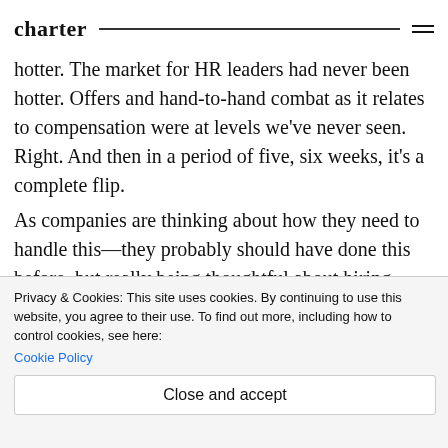charter
hotter. The market for HR leaders had never been hotter. Offers and hand-to-hand combat as it relates to compensation were at levels we've never seen. Right. And then in a period of five, six weeks, it's a complete flip.
As companies are thinking about how they need to handle this—they probably should have done this before, but really being thoughtful about hiring. Like: 'Do these need to be full-time employees or can we contract part of this out? Can we bring on project
Privacy & Cookies: This site uses cookies. By continuing to use this website, you agree to their use. To find out more, including how to control cookies, see here: Cookie Policy
Close and accept